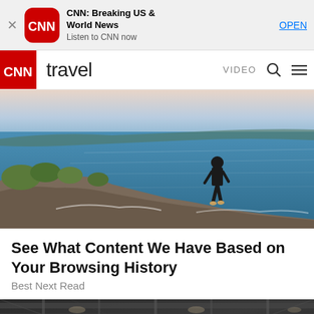[Figure (screenshot): CNN app banner with close button, CNN logo icon, app name 'CNN: Breaking US & World News', subtitle 'Listen to CNN now', and OPEN button]
CNN travel   VIDEO
[Figure (photo): Person standing on rocky coastal cliff overlooking ocean, with green vegetation, blue water and distant cityscape]
See What Content We Have Based on Your Browsing History
Best Next Read
[Figure (photo): Interior view of what appears to be an aircraft cabin or industrial space with metal ceiling and structural elements]